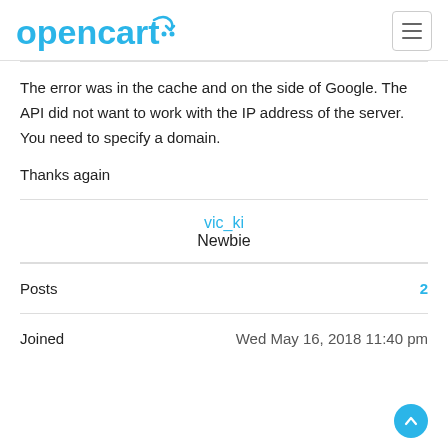opencart
The error was in the cache and on the side of Google. The API did not want to work with the IP address of the server. You need to specify a domain.
Thanks again
vic_ki
Newbie
|  |  |
| --- | --- |
| Posts | 2 |
| Joined | Wed May 16, 2018 11:40 pm |